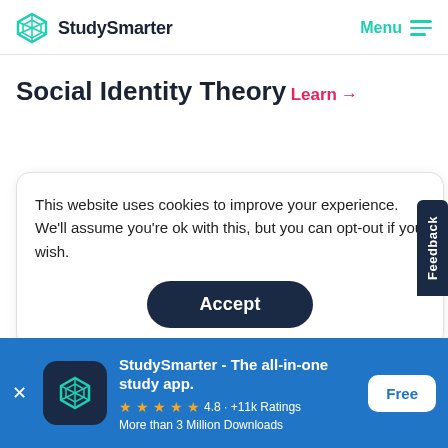StudySmarter   Menu
Social Identity Theory
Learn →
This website uses cookies to improve your experience. We'll assume you're ok with this, but you can opt-out if you wish.
Accept
Learn →
StudySmarter - The all-in-one study app.
★★★★★ 4.8 · +11k Ratings
More than 3 Million Downloads
Free